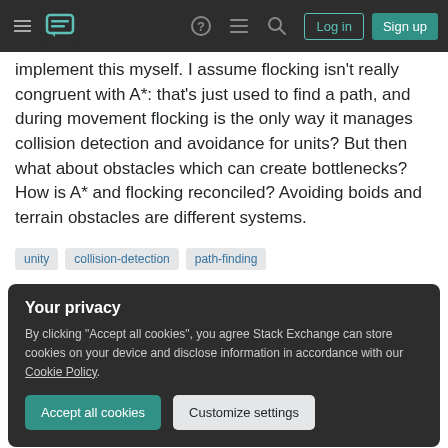Stack Exchange navigation bar with hamburger menu, logo, help, chat, search icons, Log in and Sign up buttons
implement this myself. I assume flocking isn't really congruent with A*: that's just used to find a path, and during movement flocking is the only way it manages collision detection and avoidance for units? But then what about obstacles which can create bottlenecks? How is A* and flocking reconciled? Avoiding boids and terrain obstacles are different systems.
unity
collision-detection
path-finding
Your privacy
By clicking "Accept all cookies", you agree Stack Exchange can store cookies on your device and disclose information in accordance with our Cookie Policy.